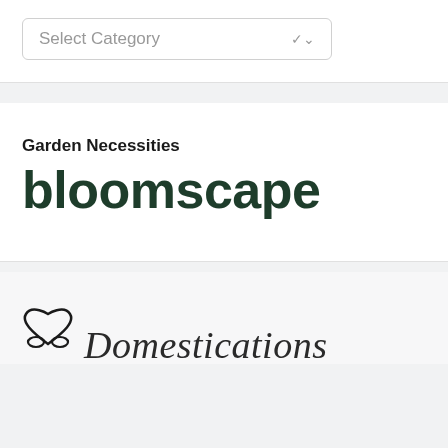[Figure (screenshot): Dropdown UI element labeled 'Select Category' with a chevron arrow on the right]
Garden Necessities
[Figure (logo): bloomscape logo in dark green large text]
[Figure (logo): Domestications logo with heart/infinity icon and italic serif text, partially visible at bottom]